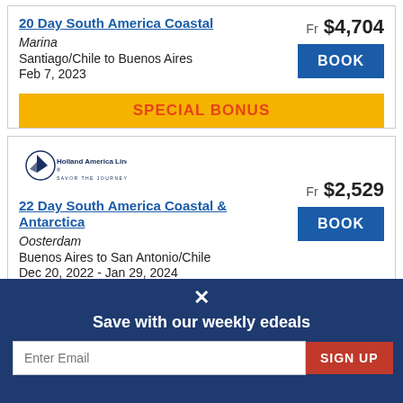20 Day South America Coastal
Marina
Santiago/Chile to Buenos Aires
Feb 7, 2023
Fr $4,704
BOOK
SPECIAL BONUS
[Figure (logo): Holland America Line logo with sailboat icon and tagline SAVOR THE JOURNEY]
22 Day South America Coastal & Antarctica
Oosterdam
Buenos Aires to San Antonio/Chile
Dec 20, 2022 - Jan 29, 2024
Fr $2,529
BOOK
SPECIAL BONUS
All offers are based on select sailings and categories and are subject to availability at time of
Save with our weekly edeals
Enter Email
SIGN UP